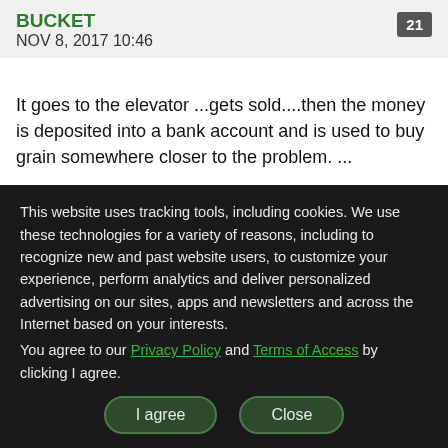BUCKET NOV 8, 2017 10:46 21
It goes to the elevator ...gets sold....then the money is deposited into a bank account and is used to buy grain somewhere closer to the problem. ...
Never does Canadian grain get exported to where the problem exists. ....
This website uses tracking tools, including cookies. We use these technologies for a variety of reasons, including to recognize new and past website users, to customize your experience, perform analytics and deliver personalized advertising on our sites, apps and newsletters and across the Internet based on your interests. You agree to our Privacy Policy and Terms of Access by clicking I agree.